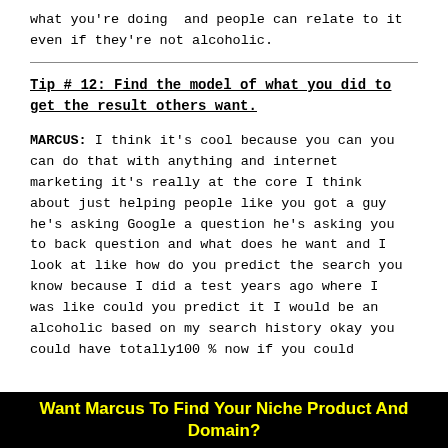what you're doing  and people can relate to it even if they're not alcoholic.
Tip # 12: Find the model of what you did to get the result others want.
MARCUS: I think it's cool because you can you can do that with anything and internet marketing it's really at the core I think about just helping people like you got a guy he's asking Google a question he's asking you to back question and what does he want and I look at like how do you predict the search you know because I did a test years ago where I was like could you predict it I would be an alcoholic based on my search history okay you could have totally100 % now if you could
Want Marcus To Find Your Niche Product And Domain?